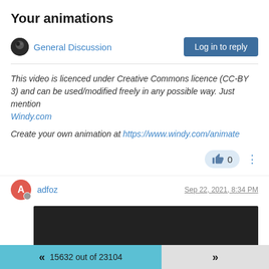Your animations
General Discussion
Log in to reply
This video is licenced under Creative Commons licence (CC-BY 3) and can be used/modified freely in any possible way. Just mention Windy.com
Create your own animation at https://www.windy.com/animate
0
adfoz
Sep 22, 2021, 8:34 PM
[Figure (screenshot): Dark/black video player embed block]
15632 out of 23104